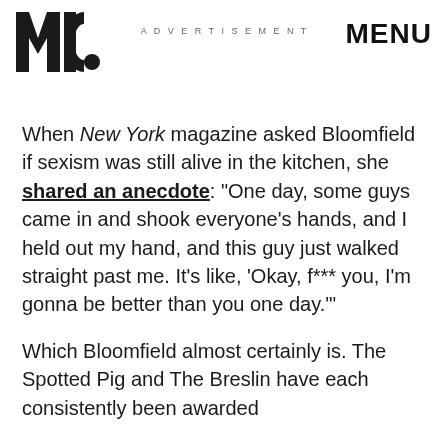MIC | ADVERTISEMENT | MENU
When New York magazine asked Bloomfield if sexism was still alive in the kitchen, she shared an anecdote: “One day, some guys came in and shook everyone’s hands, and I held out my hand, and this guy just walked straight past me. It’s like, ‘Okay, f*** you, I’m gonna be better than you one day.’”
Which Bloomfield almost certainly is. The Spotted Pig and The Breslin have each consistently been awarded